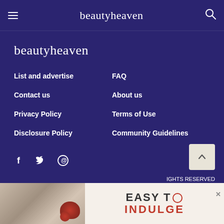beautyheaven
[Figure (logo): beautyheaven logo in white text on dark purple background]
List and advertise
FAQ
Contact us
About us
Privacy Policy
Terms of Use
Disclosure Policy
Community Guidelines
[Figure (infographic): Social media icons: Facebook (f), Twitter (bird), Pinterest (P)]
RIGHTS RESERVED
[Figure (infographic): Advertisement banner: EASY TO INDULGE with product photo]